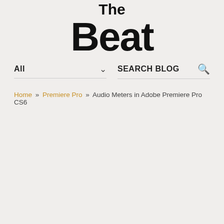The Beat
All  ∨  SEARCH BLOG  🔍
Home » Premiere Pro » Audio Meters in Adobe Premiere Pro CS6